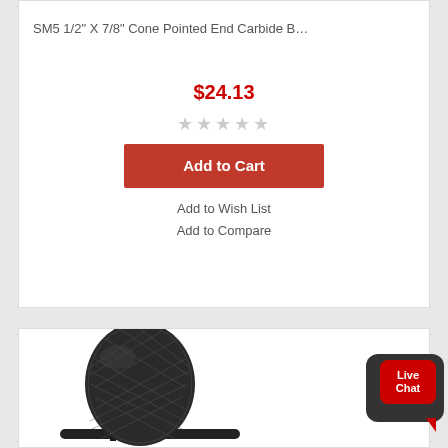SM5 1/2" X 7/8" Cone Pointed End Carbide B…
$24.13
★★★★★
Add to Cart
Add to Wish List
Add to Compare
[Figure (photo): Carbide burr tool with oval/egg-shaped head showing crosscut diamond pattern teeth, on a long shank]
Live Chat